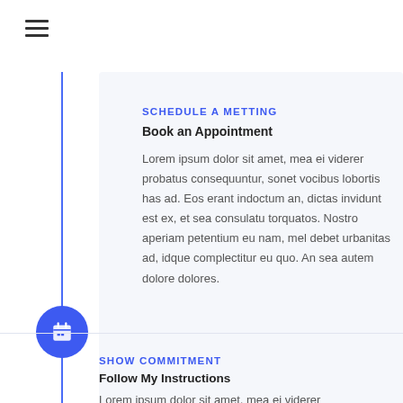[Figure (illustration): Hamburger menu icon with three horizontal lines]
SCHEDULE A METTING
Book an Appointment
Lorem ipsum dolor sit amet, mea ei viderer probatus consequuntur, sonet vocibus lobortis has ad. Eos erant indoctum an, dictas invidunt est ex, et sea consulatu torquatos. Nostro aperiam petentium eu nam, mel debet urbanitas ad, idque complectitur eu quo. An sea autem dolore dolores.
SHOW COMMITMENT
Follow My Instructions
Lorem ipsum dolor sit amet, mea ei viderer